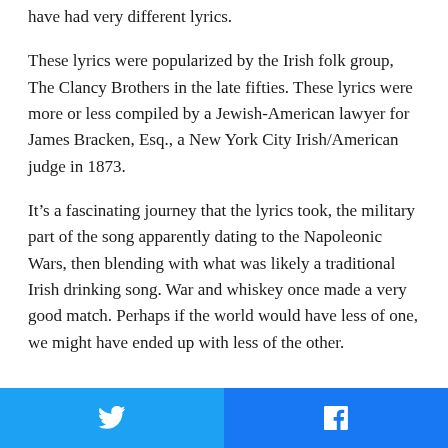have had very different lyrics.
These lyrics were popularized by the Irish folk group, The Clancy Brothers in the late fifties. These lyrics were more or less compiled by a Jewish-American lawyer for James Bracken, Esq., a New York City Irish/American judge in 1873.
It’s a fascinating journey that the lyrics took, the military part of the song apparently dating to the Napoleonic Wars, then blending with what was likely a traditional Irish drinking song. War and whiskey once made a very good match. Perhaps if the world would have less of one, we might have ended up with less of the other.